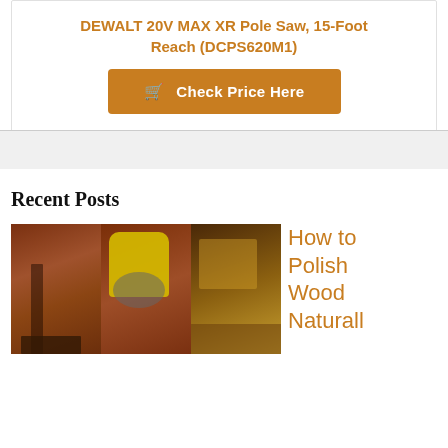DEWALT 20V MAX XR Pole Saw, 15-Foot Reach (DCPS620M1)
Check Price Here
Recent Posts
[Figure (photo): Three images showing wood polishing/staining processes: painting wood with brush, wiping with yellow glove and cloth, and woodworking.]
How to Polish Wood Naturall